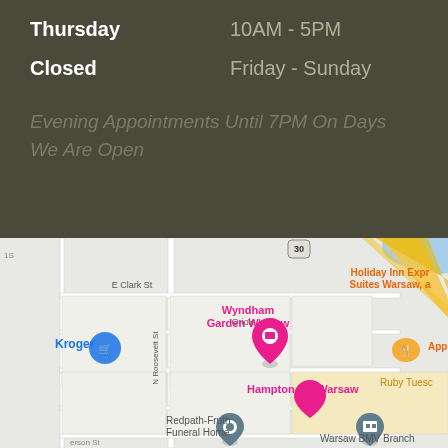Thursday   10AM - 5PM
Closed   Friday - Sunday
Evening Appointments Until 7PM On Days We Are Open
[Figure (map): Google Maps screenshot showing Warsaw area with markers for Kroger, Wyndham Garden Warsaw, Hampton Inn Warsaw, Redpath-Fruth Funeral Home, Warsaw BMV Branch, Holiday Inn Express Suites Warsaw, Applebee's Grill, and Ruby Tuesday. Route 30 highway visible in upper right.]